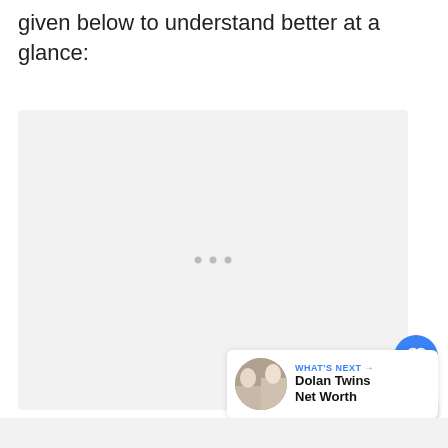given below to understand better at a glance:
[Figure (other): Large empty placeholder content area with loading dots indicator in center]
[Figure (infographic): UI widget panel: heart/like button (blue circle), like count badge (1), share button, and a 'WHAT'S NEXT' recommendation card showing 'Dolan Twins Net Worth']